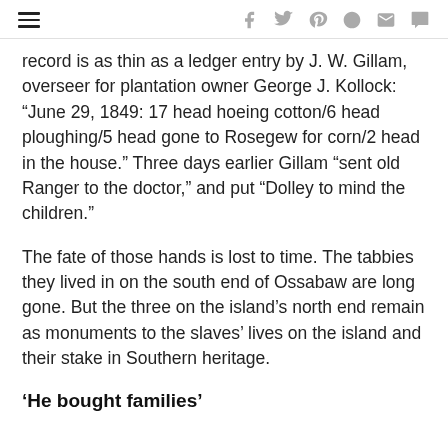navigation bar with hamburger menu and social icons (f, twitter, pinterest, reddit, mail, comment)
record is as thin as a ledger entry by J. W. Gillam, overseer for plantation owner George J. Kollock: “June 29, 1849: 17 head hoeing cotton/6 head ploughing/5 head gone to Rosegew for corn/2 head in the house.” Three days earlier Gillam “sent old Ranger to the doctor,” and put “Dolley to mind the children.”
The fate of those hands is lost to time. The tabbies they lived in on the south end of Ossabaw are long gone. But the three on the island’s north end remain as monuments to the slaves’ lives on the island and their stake in Southern heritage.
‘He bought families’